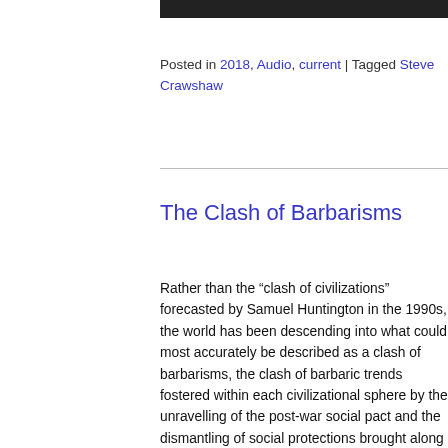Posted in 2018, Audio, current | Tagged Steve Crawshaw
The Clash of Barbarisms
Rather than the “clash of civilizations” forecasted by Samuel Huntington in the 1990s, the world has been descending into what could most accurately be described as a clash of barbarisms, the clash of barbaric trends fostered within each civilizational sphere by the unravelling of the post-war social pact and the dismantling of social protections brought along by the neoliberal age. The fate of the Arab Spring provides a tragic illustration of this most worrying evolution. The famous alternative between “socialism or barbarism” that Rosa Luxemburg